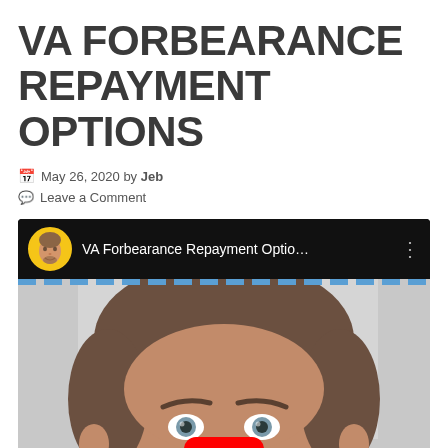VA FORBEARANCE REPAYMENT OPTIONS
May 26, 2020 by Jeb
Leave a Comment
[Figure (screenshot): YouTube video embed showing 'VA Forbearance Repayment Optio...' with a man's face as thumbnail and YouTube play button overlay]